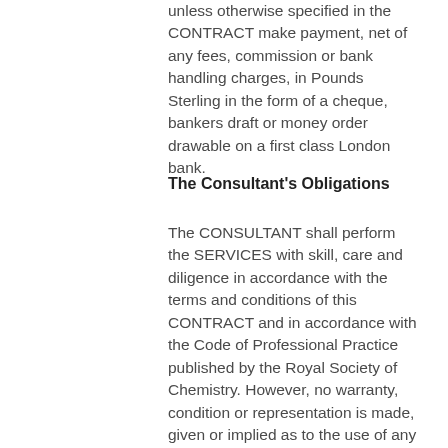unless otherwise specified in the CONTRACT make payment, net of any fees, commission or bank handling charges, in Pounds Sterling in the form of a cheque, bankers draft or money order drawable on a first class London bank.
The Consultant's Obligations
The CONSULTANT shall perform the SERVICES with skill, care and diligence in accordance with the terms and conditions of this CONTRACT and in accordance with the Code of Professional Practice published by the Royal Society of Chemistry. However, no warranty, condition or representation is made, given or implied as to the use of any written advice or opinion and the CLIENT shall be entirely responsible for the use to which it puts any written advice or opinion and shall indemnify the CONSULTANT against any claims arising out of any such use. If the CLIENT notifies the CONSULTANT